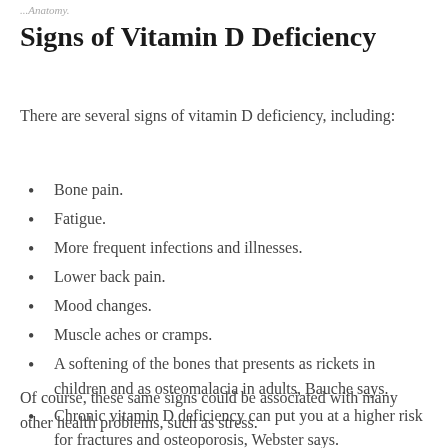...Anatomy.
Signs of Vitamin D Deficiency
There are several signs of vitamin D deficiency, including:
Bone pain.
Fatigue.
More frequent infections and illnesses.
Lower back pain.
Mood changes.
Muscle aches or cramps.
A softening of the bones that presents as rickets in children and as osteomalacia in adults, Bauche says.
Chronic vitamin D deficiency can put you at a higher risk for fractures and osteoporosis, Webster says.
Of course, these same signs could be associated with many other health problems, such as stress.